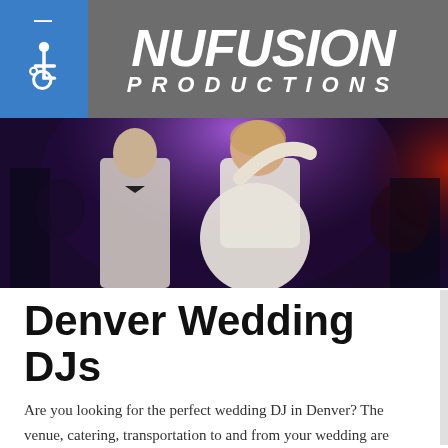NUFUSION PRODUCTIONS
[Figure (photo): Couple dancing at a wedding reception with colorful stage lighting — purple and red lights in background, man in white shirt and bow tie, woman in white dress]
Denver Wedding DJs
Are you looking for the perfect wedding DJ in Denver? The venue, catering, transportation to and from your wedding are invaluable assets, but what about the DJ? With many years in the DJ business, we've seen weddings